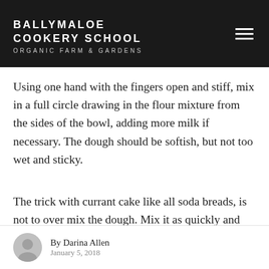BALLYMALOE COOKERY SCHOOL ORGANIC FARM & GARDENS
Using one hand with the fingers open and stiff, mix in a full circle drawing in the flour mixture from the sides of the bowl, adding more milk if necessary. The dough should be softish, but not too wet and sticky.
The trick with currant cake like all soda breads, is not to over mix the dough. Mix it as quickly and gently as possible, thus keeping it
By Darina Allen
January 5, 2018